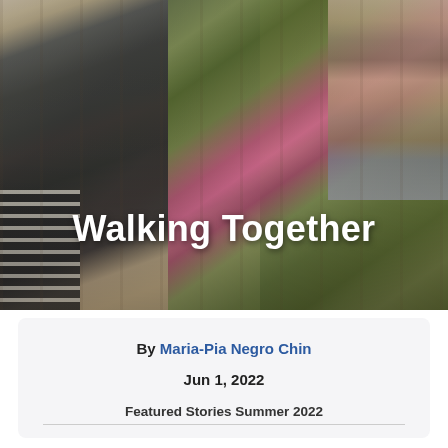[Figure (photo): Photo of a young boy wearing glasses and a dark v-neck shirt, smiling, with plants and pink flowers in the background and another person partially visible on the right. Text 'Walking Together' overlaid in white bold lettering.]
Walking Together
By Maria-Pia Negro Chin
Jun 1, 2022
Featured Stories Summer 2022